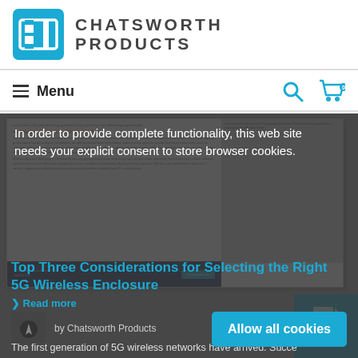[Figure (logo): Chatsworth Products (CPI) logo with blue square bracket icon and brand name]
Menu
[Figure (screenshot): Screenshot of a Chatsworth Products product page showing document about 5G wireless enclosures with embedded product image of enclosure]
In order to provide complete functionality, this web site needs your explicit consent to store browser cookies.
Read more
Top Three Considerations for Selecting the Right 5G Wireless Enclosure
by Chatsworth Products
The first generation of 5G wireless networks have arrived. Succe
[Figure (other): Allow all cookies button (teal/blue rounded rectangle)]